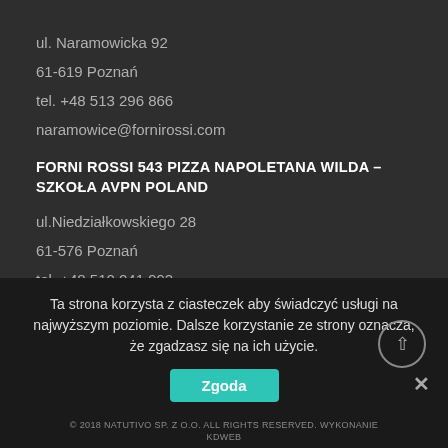ul. Naramowicka 92
61-619 Poznań
tel. +48 513 296 866
naramowice@fornirossi.com
FORNI ROSSI 543 PIZZA NAPOLETANA WILDA – SZKOŁA AVPN POLAND
ul.Niedziałkowskiego 28
61-576 Poznań
tel. +48 510 041 992
wilda@fornirossi.com
Ta strona korzysta z ciasteczek aby świadczyć usługi na najwyższym poziomie. Dalsze korzystanie ze strony oznacza, że zgadzasz się na ich użycie.
© 2018 NATUTIVO SP. Z O.O. ALL RIGHTS RESERVED. WYKONANIE KDWEB